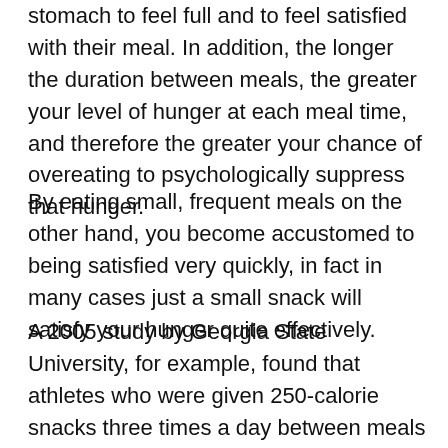stomach to feel full and to feel satisfied with their meal. In addition, the longer the duration between meals, the greater your level of hunger at each meal time, and therefore the greater your chance of overeating to psychologically suppress that hunger.
By eating small, frequent meals on the other hand, you become accustomed to being satisfied very quickly, in fact in many cases just a small snack will satisfy your hunger quite effectively.
A 2005 study by Georgia State University, for example, found that athletes who were given 250-calorie snacks three times a day between meals actually self-regulated their regular meals by eating less at those meal times because of the satiating effect of the snacks[3].